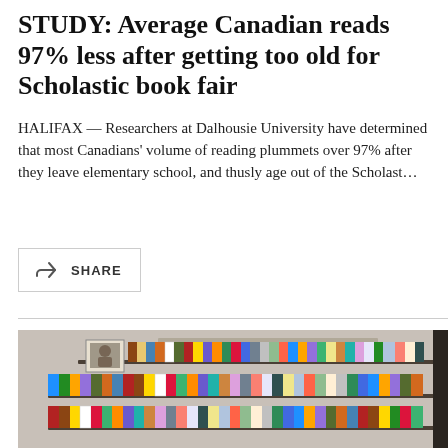STUDY: Average Canadian reads 97% less after getting too old for Scholastic book fair
HALIFAX — Researchers at Dalhousie University have determined that most Canadians' volume of reading plummets over 97% after they leave elementary school, and thusly age out of the Scholast...
SHARE
[Figure (photo): Bookstore shelves labeled HEATHER'S PICKS with rows of books displayed facing outward, including a framed photo of a person.]